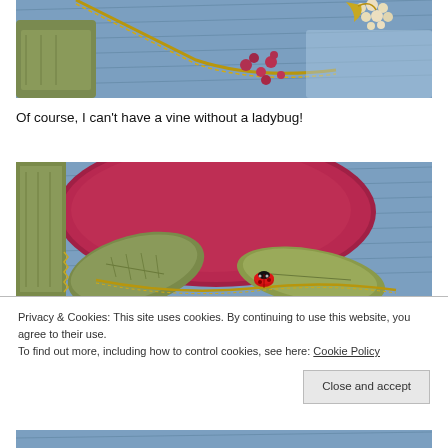[Figure (photo): Close-up photo of embroidered/quilted textile with blue denim background, olive green fabric patches, red berry embroidery, and gold chain trim with pearl-like beads]
Of course, I can't have a vine without a ladybug!
[Figure (photo): Close-up photo of quilted textile showing red fabric circular patch, olive green leaf-shaped patches with gold chain edging, and a small red and black ladybug embellishment on blue denim background]
Privacy & Cookies: This site uses cookies. By continuing to use this website, you agree to their use.
To find out more, including how to control cookies, see here: Cookie Policy

Close and accept
[Figure (photo): Partial view of another embroidered/quilted textile piece at the bottom of the page]